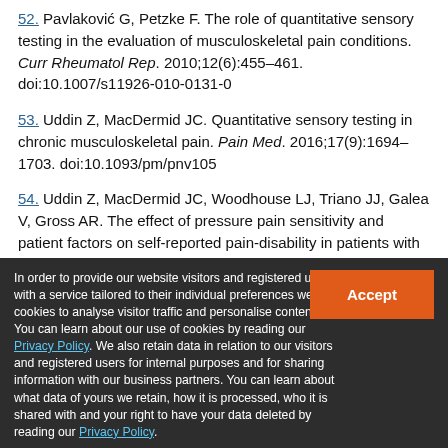52. Pavlaković G, Petzke F. The role of quantitative sensory testing in the evaluation of musculoskeletal pain conditions. Curr Rheumatol Rep. 2010;12(6):455–461. doi:10.1007/s11926-010-0131-0
53. Uddin Z, MacDermid JC. Quantitative sensory testing in chronic musculoskeletal pain. Pain Med. 2016;17(9):1694–1703. doi:10.1093/pm/pnv105
54. Uddin Z, MacDermid JC, Woodhouse LJ, Triano JJ, Galea V, Gross AR. The effect of pressure pain sensitivity and patient factors on self-reported pain-disability in patients with chronic neck pain. Open Orthop J. 2014;8(1):302–309.
In order to provide our website visitors and registered users with a service tailored to their individual preferences we use cookies to analyse visitor traffic and personalise content. You can learn about our use of cookies by reading our Privacy Policy. We also retain data in relation to our visitors and registered users for internal purposes and for sharing information with our business partners. You can learn about what data of yours we retain, how it is processed, who it is shared with and your right to have your data deleted by reading our Privacy Policy. If you agree to our use of cookies and the contents of our Privacy Policy please click 'accept'.